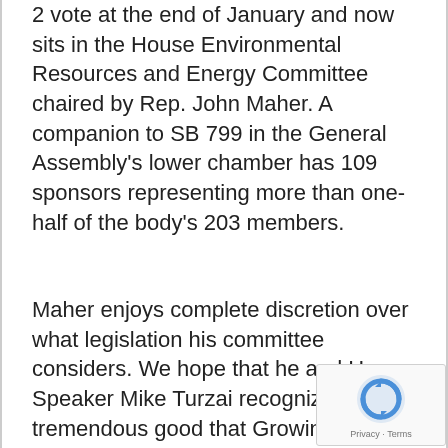2 vote at the end of January and now sits in the House Environmental Resources and Energy Committee chaired by Rep. John Maher. A companion to SB 799 in the General Assembly's lower chamber has 109 sponsors representing more than one-half of the body's 203 members.
Maher enjoys complete discretion over what legislation his committee considers. We hope that he and House Speaker Mike Turzai recognize the tremendous good that Growing Greener has done for Pennsylvania. They can lead the General Assembly in injecting new